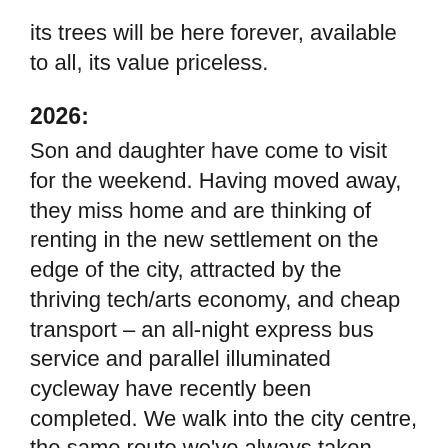its trees will be here forever, available to all, its value priceless.
2026:
Son and daughter have come to visit for the weekend. Having moved away, they miss home and are thinking of renting in the new settlement on the edge of the city, attracted by the thriving tech/arts economy, and cheap transport – an all-night express bus service and parallel illuminated cycleway have recently been completed. We walk into the city centre, the same route we've always taken. What's changed? Electric cars mean you have to be careful stepping off the kerb. But there are fewer cars now and they travel slowly, their speed inhibitors primed to detect pedestrians and bikes at the roadside. The footways are more attractive, the